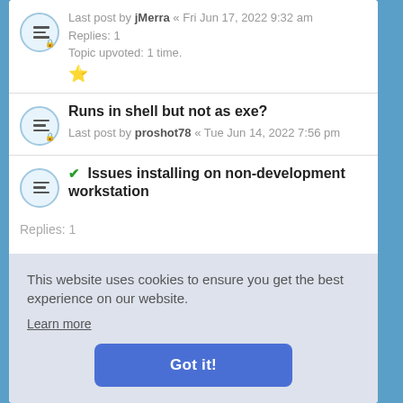Last post by jMerra « Fri Jun 17, 2022 9:32 am
Replies: 1
Topic upvoted: 1 time.
★
Runs in shell but not as exe?
Last post by proshot78 « Tue Jun 14, 2022 7:56 pm
✓ Issues installing on non-development workstation
This website uses cookies to ensure you get the best experience on our website.
Learn more
Got it!
Replies: 1